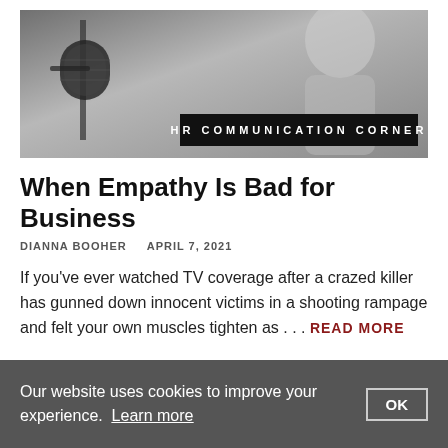[Figure (photo): Black and white photo of a studio microphone with a woman in the background. Text overlay reads 'HR COMMUNICATION CORNER'.]
When Empathy Is Bad for Business
DIANNA BOOHER    APRIL 7, 2021
If you've ever watched TV coverage after a crazed killer has gunned down innocent victims in a shooting rampage and felt your own muscles tighten as … READ MORE
1  2  …  5  >
Our website uses cookies to improve your experience. Learn more